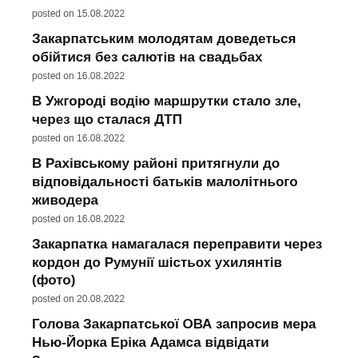posted on 15.08.2022
Закарпатським молодятам доведеться обійтися без салютів на свадьбах
posted on 16.08.2022
В Ужгороді водію маршрутки стало зле, через що сталася ДТП
posted on 16.08.2022
В Рахівському районі притягнули до відповідальності батьків малолітнього живодера
posted on 16.08.2022
Закарпатка намагалася переправити через кордон до Румунії шістьох ухилянтів (фото)
posted on 20.08.2022
Голова Закарпатської ОВА запросив мера Нью-Йорка Еріка Адамса відвідати Закарпаття
posted on 18.08.2022
В Ужгороді просто на вулиці дебошир кидався на перехожих з